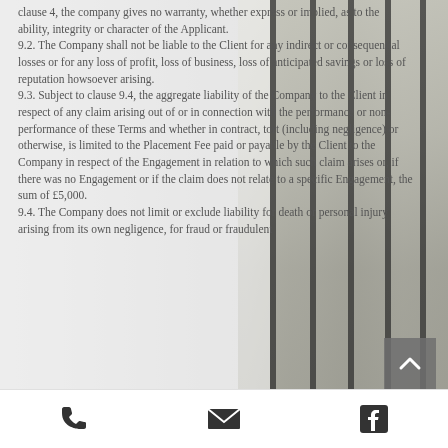clause 4, the company gives no warranty, whether express or implied, as to the ability, integrity or character of the Applicant. 9.2. The Company shall not be liable to the Client for any indirect or consequential losses or for any loss of profit, loss of business, loss of anticipated savings or loss of reputation howsoever arising. 9.3. Subject to clause 9.4, the aggregate liability of the Company to the Client in respect of any claim arising out of or in connection with the performance or non-performance of these Terms and whether in contract, tort (including negligence) or otherwise, is limited to the Placement Fee paid or payable by the Client to the Company in respect of the Engagement in relation to which such claim arises or, if there was no Engagement or if the claim does not relate to a specific Engagement, the sum of £5,000. 9.4. The Company does not limit or exclude liability for death or personal injury arising from its own negligence, for fraud or fraudulent
[Figure (other): Back to top button - grey square with upward chevron arrow]
Phone icon | Email icon | Facebook icon